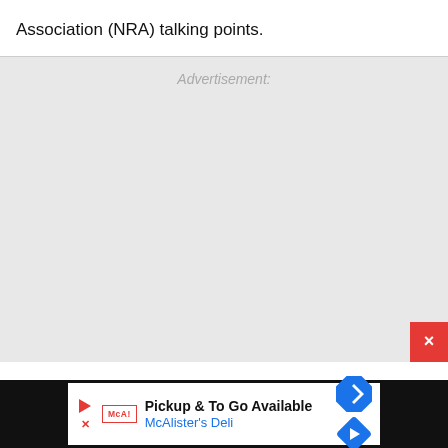Association (NRA) talking points.
[Figure (other): Advertisement placeholder area with label 'Advertisement:' in light gray italic text on a light gray background. A red close button (×) appears in the bottom-right corner.]
[Figure (other): Bottom advertisement banner: McAlister's Deli 'Pickup & To Go Available' ad on a black bar background, with a white inner panel showing a play icon, McAlister's logo box, ad text, and a blue diamond navigation icon.]